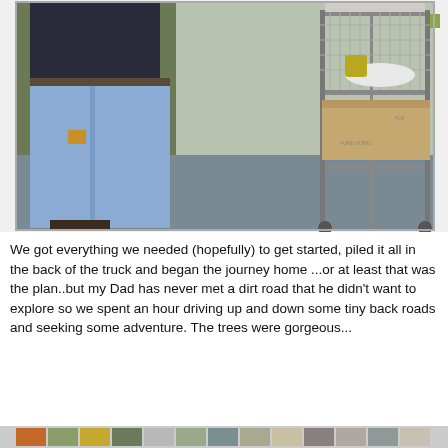[Figure (photo): A person standing in jeans next to a wire shelving cart loaded with boxes and items, on a concrete floor in what appears to be a warehouse or storage area.]
We got everything we needed (hopefully) to get started, piled it all in the back of the truck and began the journey home ...or at least that was the plan..but my Dad has never met a dirt road that he didn't want to explore so we spent an hour driving up and down some tiny back roads and seeking some adventure. The trees were gorgeous...
[Figure (photo): Partial view of a colorful collage or strip of photos at the bottom of the page, partially cut off.]